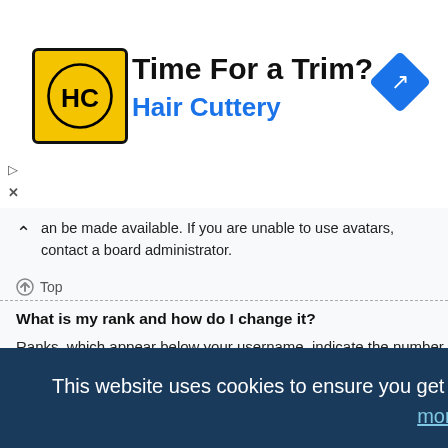[Figure (advertisement): Hair Cuttery advertisement banner with logo showing 'HC' initials, headline 'Time For a Trim?' and subheadline 'Hair Cuttery'. Navigation/directions icon at top right.]
an be made available. If you are unable to use avatars, contact a board administrator.
Top
What is my rank and how do I change it?
Ranks, which appear below your username, indicate the number of posts you have made or identify certain users, e.g. moderators and administrators. In general, you cannot directly change the wording of any board ranks as they are set by the board administrator. Please do not abuse the board by posting unnecessarily just to increase your rank. Most boards will not tolerate this and
This website uses cookies to ensure you get the best experience on our website.  Learn more
Got it!
ail form,
t